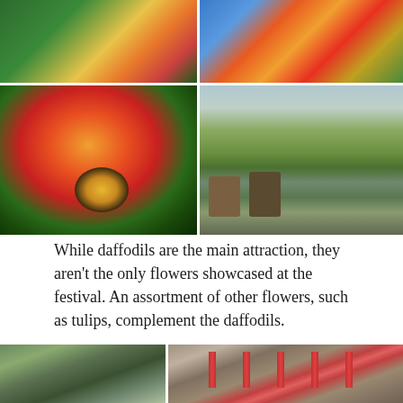[Figure (photo): Top row: two photos of colorful flowers including tulips in green and blue buckets at a festival]
[Figure (photo): Middle row left: close-up of a red and orange tulip with dark center stamens against green foliage]
[Figure (photo): Middle row right: greenhouse with shelves of various potted plants and flowers]
While daffodils are the main attraction, they aren't the only flowers showcased at the festival. An assortment of other flowers, such as tulips, complement the daffodils.
[Figure (photo): Bottom row: two photos showing garden scenery and rows of red tulips against a stone wall]